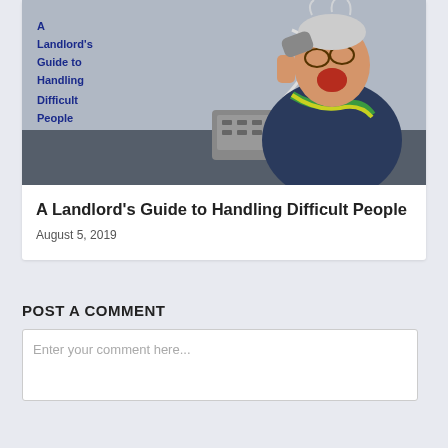[Figure (illustration): Book cover image showing an angry woman screaming while holding a telephone, with book title text overlay: 'A Landlord's Guide to Handling Difficult People']
A Landlord's Guide to Handling Difficult People
August 5, 2019
POST A COMMENT
Enter your comment here...